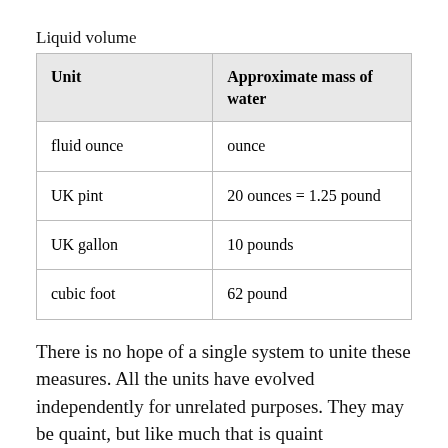Liquid volume
| Unit | Approximate mass of water |
| --- | --- |
| fluid ounce | ounce |
| UK pint | 20 ounces = 1.25 pound |
| UK gallon | 10 pounds |
| cubic foot | 62 pound |
There is no hope of a single system to unite these measures. All the units have evolved independently for unrelated purposes. They may be quaint, but like much that is quaint